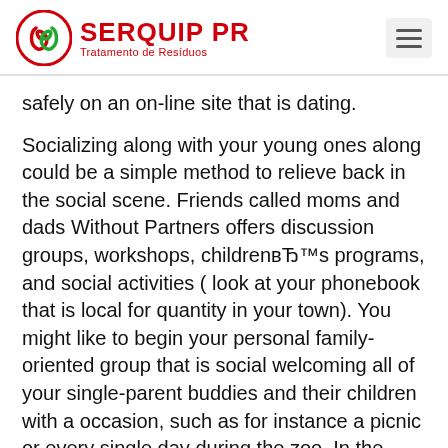SERQUIP PR Tratamento de Resíduos
safely on an on-line site that is dating.
Socializing along with your young ones along could be a simple method to relieve back in the social scene. Friends called moms and dads Without Partners offers discussion groups, workshops, childrenвЂ™s programs, and social activities ( look at your phonebook that is local for quantity in your town). You might like to begin your personal family-oriented group that is social welcoming all of your single-parent buddies and their children with a occasion, such as for instance a picnic or every single day during the zoo. In the event that you donвЂ™t understand every other solitary moms and dads, a divorce or s... wonderful destination to fulfill some. You might like to pose a question to your buddies to ask their single-parent buddies